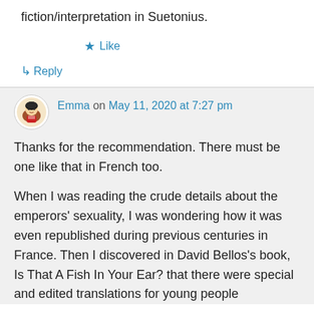fiction/interpretation in Suetonius.
★ Like
↳ Reply
Emma on May 11, 2020 at 7:27 pm
Thanks for the recommendation. There must be one like that in French too.
When I was reading the crude details about the emperors' sexuality, I was wondering how it was even republished during previous centuries in France. Then I discovered in David Bellos's book, Is That A Fish In Your Ear? that there were special and edited translations for young people